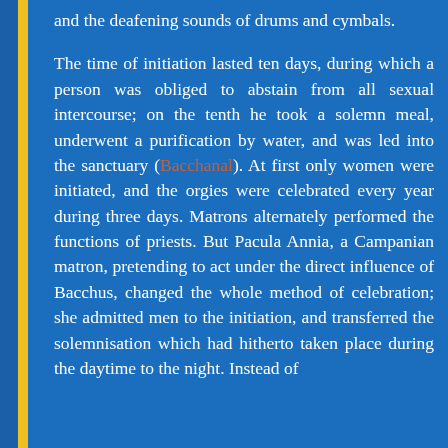and the deafening sounds of drums and cymbals.
The time of initiation lasted ten days, during which a person was obliged to abstain from all sexual intercourse; on the tenth he took a solemn meal, underwent a purification by water, and was led into the sanctuary (Bacchanal). At first only women were initiated, and the orgies were celebrated every year during three days. Matrons alternately performed the functions of priests. But Pacula Annia, a Campanian matron, pretending to act under the direct influence of Bacchus, changed the whole method of celebration; she admitted men to the initiation, and transferred the solemnisation which had hitherto taken place during the daytime to the night. Instead of